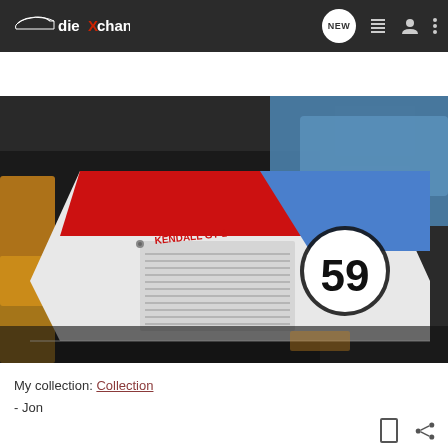diecastXchange
Search Community
[Figure (photo): Close-up photo of diecast model cars on a shelf. The central car is white with red and blue livery, featuring the number 59 in a white circle on a dark background, and 'KENDALL GT-1' text in red on the side.]
My collection: Collection
- Jon